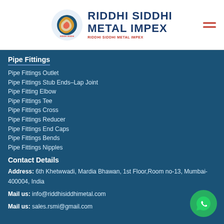RIDDHI SIDDHI METAL IMPEX
Pipe Fittings
Pipe Fittings Outlet
Pipe Fittings Stub Ends-Lap Joint
Pipe Fitting Elbow
Pipe Fittings Tee
Pipe Fittings Cross
Pipe Fittings Reducer
Pipe Fittings End Caps
Pipe Fittings Bends
Pipe Fittings Nipples
Contact Details
Address: 6th Khetwwadi, Mardia Bhawan, 1st Floor,Room no-13, Mumbai-400004, India
Mail us: info@riddhisiddhimetal.com
Mail us: sales.rsmi@gmail.com